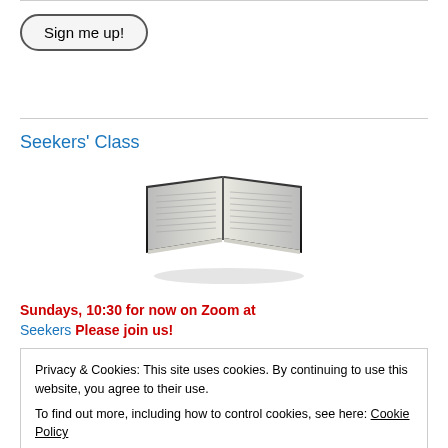[Figure (other): Sign me up! button with rounded rectangle border]
Seekers' Class
[Figure (photo): Open Bible book photograph]
Sundays, 10:30 for now on Zoom at
Seekers Please join us!
Privacy & Cookies: This site uses cookies. By continuing to use this website, you agree to their use.
To find out more, including how to control cookies, see here: Cookie Policy
Close and accept